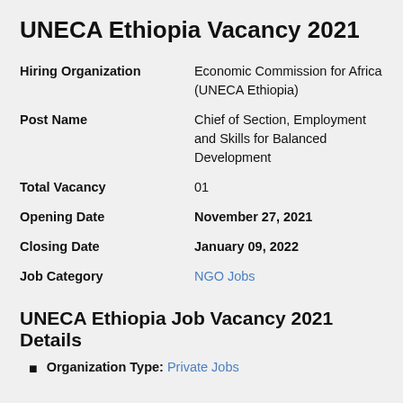UNECA Ethiopia Vacancy 2021
| Field | Value |
| --- | --- |
| Hiring Organization | Economic Commission for Africa (UNECA Ethiopia) |
| Post Name | Chief of Section, Employment and Skills for Balanced Development |
| Total Vacancy | 01 |
| Opening Date | November 27, 2021 |
| Closing Date | January 09, 2022 |
| Job Category | NGO Jobs |
UNECA Ethiopia Job Vacancy 2021 Details
Organization Type: Private Jobs